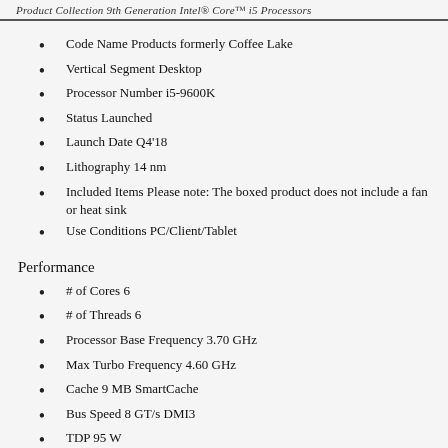Product Collection 9th Generation Intel® Core™ i5 Processors
Code Name Products formerly Coffee Lake
Vertical Segment Desktop
Processor Number i5-9600K
Status Launched
Launch Date Q4'18
Lithography 14 nm
Included Items Please note: The boxed product does not include a fan or heat sink
Use Conditions PC/Client/Tablet
Performance
# of Cores 6
# of Threads 6
Processor Base Frequency 3.70 GHz
Max Turbo Frequency 4.60 GHz
Cache 9 MB SmartCache
Bus Speed 8 GT/s DMI3
TDP 95 W